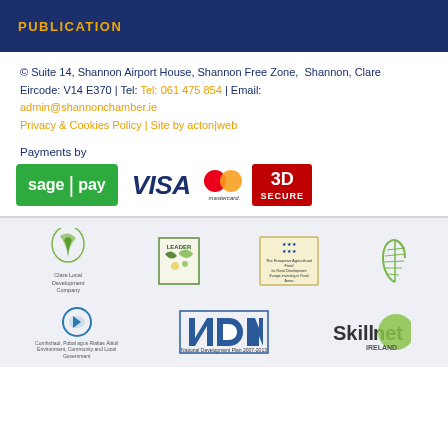PUBLICATION
© Suite 14, Shannon Airport House, Shannon Free Zone, Shannon, Clare
Eircode: V14 E370 | Tel: Tel: 061 475 854 | Email:
admin@shannonchamber.ie
Privacy & Cookies Policy | Site by acton|web
Payments by
[Figure (logo): Sage Pay logo - green background with white text 'sage | pay']
[Figure (logo): VISA logo - dark blue italic bold text]
[Figure (logo): Mastercard logo - overlapping red and orange circles with 'mastercard.' text below]
[Figure (logo): 3D SECURE logo - red box with white bold text '3D SECURE']
[Figure (logo): Clare Local Development Company logo]
[Figure (logo): LEADER logo]
[Figure (logo): European Agricultural Fund logo]
[Figure (logo): Harp/Ireland logo]
[Figure (logo): Department of Environment, Community and Local Government logo]
[Figure (logo): NDP - National Development Plan 2007-2013 logo]
[Figure (logo): Skillnet Ireland logo]